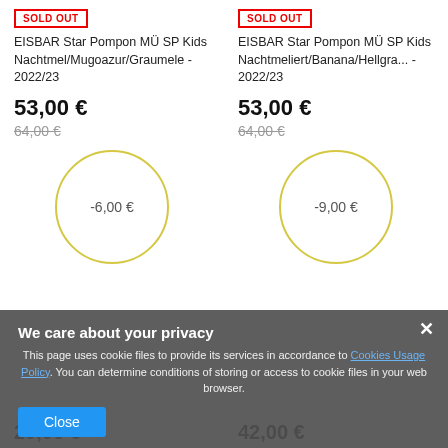[Figure (screenshot): E-commerce product listing page showing two sold-out items with discount circles and a cookie consent overlay]
SOLD OUT
EISBAR Star Pompon MÜ SP Kids Nachtmel/Mugoazur/Graumele - 2022/23
53,00 €
64,00 €
-6,00 €
SOLD OUT
EISBAR Star Pompon MÜ SP Kids Nachtmeliert/Banana/Hellgra... - 2022/23
53,00 €
64,00 €
-9,00 €
We care about your privacy
This page uses cookie files to provide its services in accordance to Cookies Usage Policy. You can determine conditions of storing or access to cookie files in your web browser.
Close
29,00 €
42,00 €